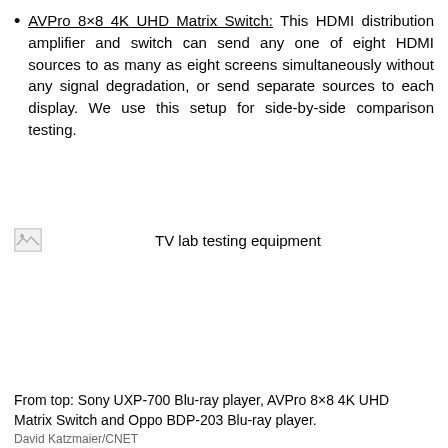AVPro 8×8 4K UHD Matrix Switch: This HDMI distribution amplifier and switch can send any one of eight HDMI sources to as many as eight screens simultaneously without any signal degradation, or send separate sources to each display. We use this setup for side-by-side comparison testing.
[Figure (photo): Broken/missing image placeholder for TV lab testing equipment photo]
TV lab testing equipment
From top: Sony UXP-700 Blu-ray player, AVPro 8×8 4K UHD Matrix Switch and Oppo BDP-203 Blu-ray player.
David Katzmaier/CNET